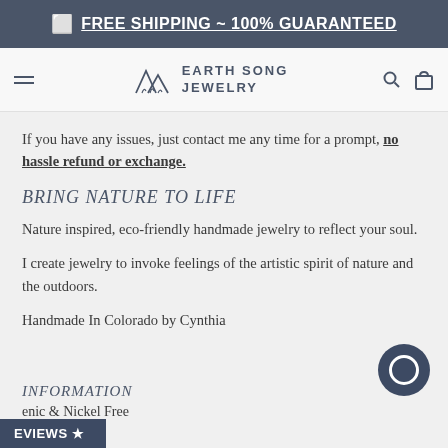FREE SHIPPING ~ 100% GUARANTEED
[Figure (logo): Earth Song Jewelry logo with mountain/nature symbol and stylized text]
If you have any issues, just contact me any time for a prompt, no hassle refund or exchange.
BRING NATURE TO LIFE
Nature inspired, eco-friendly handmade jewelry to reflect your soul.
I create jewelry to invoke feelings of the artistic spirit of nature and the outdoors.
Handmade In Colorado by Cynthia
INFORMATION
enic & Nickel Free